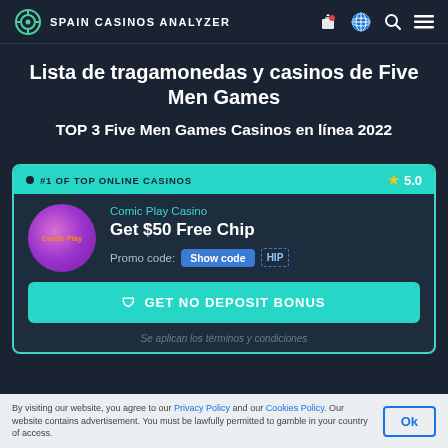SPAIN CASINOS ANALYZER
Lista de tragamonedas y casinos de Five Men Games
TOP 3 Five Men Games Casinos en línea 2022
#1 OF TOP ONLINE CASINOS  ★ 5.0
Comic Play Casino
Get $50 Free Chip
Promo code: Show code HIP
GET NO DEPOSIT BONUS
Se aplican los términos y condiciones
By visiting our website, you agree to our Privacy Policy and our Cookies Policy. Our website contains advertisement. You must be lawfully permitted to gamble in your country of access.